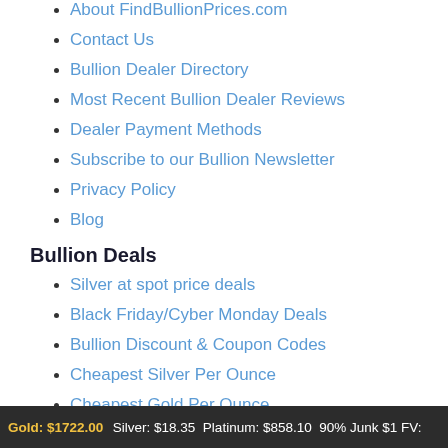About FindBullionPrices.com
Contact Us
Bullion Dealer Directory
Most Recent Bullion Dealer Reviews
Dealer Payment Methods
Subscribe to our Bullion Newsletter
Privacy Policy
Blog
Bullion Deals
Silver at spot price deals
Black Friday/Cyber Monday Deals
Bullion Discount & Coupon Codes
Cheapest Silver Per Ounce
Cheapest Gold Per Ounce
eBay Bucks Eligible Bullion
Gold: $1722.00  Silver: $18.35  Platinum: $858.10  90% Junk $1 FV: